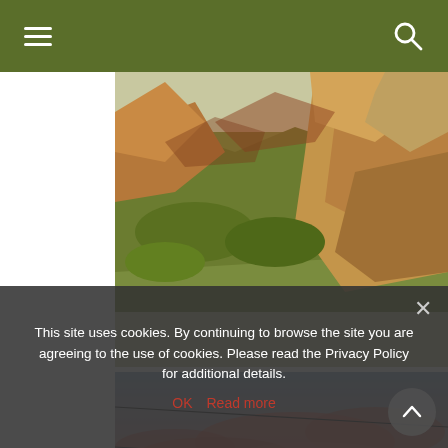Navigation header with hamburger menu and search icon
[Figure (photo): Aerial view of a rocky canyon landscape with scrubby vegetation in valley below and large sandstone boulders in foreground]
[Figure (photo): Sunset sky with pink and purple clouds, overhead power lines, and a building rooftop visible at the bottom]
This site uses cookies. By continuing to browse the site you are agreeing to the use of cookies. Please read the Privacy Policy for additional details.
OK  Read more